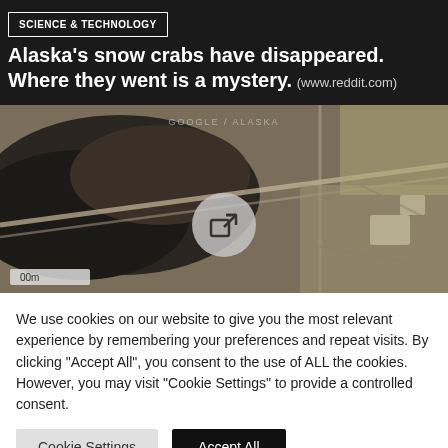SCIENCE & TECHNOLOGY
Alaska’s snow crabs have disappeared. Where they went is a mystery. (www.reddit.com)
[Figure (screenshot): Satellite/aerial photograph showing terrain with roads and structures, with a circular link/share icon overlay in the center and a scale bar showing '00m' at lower left. A faint 'Google/Alaska' watermark is visible at the top.]
We use cookies on our website to give you the most relevant experience by remembering your preferences and repeat visits. By clicking “Accept All”, you consent to the use of ALL the cookies. However, you may visit “Cookie Settings” to provide a controlled consent.
Cookie Settings | Accept All